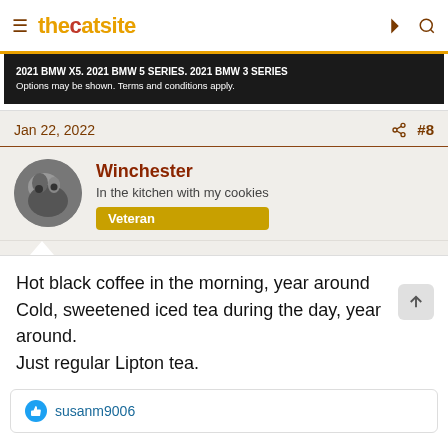thecatsite
[Figure (screenshot): BMW advertisement banner: '2021 BMW X5. 2021 BMW 5 SERIES. 2021 BMW 3 SERIES Options may be shown. Terms and conditions apply.']
Jan 22, 2022  #8
Winchester
In the kitchen with my cookies
Veteran
Hot black coffee in the morning, year around
Cold, sweetened iced tea during the day, year around
Just regular Lipton tea.
susanm9006